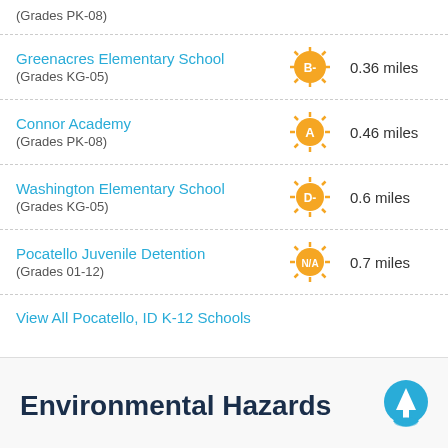(Grades PK-08)
Greenacres Elementary School (Grades KG-05) — B- — 0.36 miles
Connor Academy (Grades PK-08) — A — 0.46 miles
Washington Elementary School (Grades KG-05) — D- — 0.6 miles
Pocatello Juvenile Detention (Grades 01-12) — N/A — 0.7 miles
View All Pocatello, ID K-12 Schools
Environmental Hazards